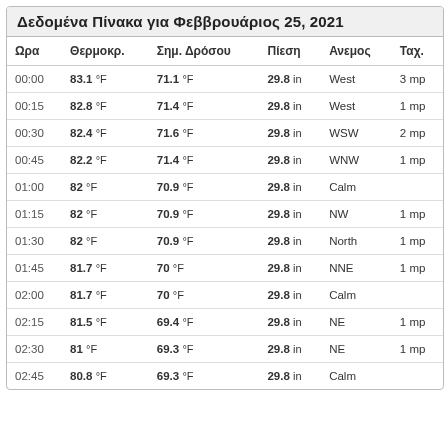Δεδομένα Πίνακα για Φεββρουάριος 25, 2021
| Ωρα | Θερμοκρ. | Σημ. Δρόσου | Πίεση | Ανεμος | Ταχ. |
| --- | --- | --- | --- | --- | --- |
| 00:00 | 83.1 °F | 71.1 °F | 29.8 in | West | 3 mp |
| 00:15 | 82.8 °F | 71.4 °F | 29.8 in | West | 1 mp |
| 00:30 | 82.4 °F | 71.6 °F | 29.8 in | WSW | 2 mp |
| 00:45 | 82.2 °F | 71.4 °F | 29.8 in | WNW | 1 mp |
| 01:00 | 82 °F | 70.9 °F | 29.8 in | Calm |  |
| 01:15 | 82 °F | 70.9 °F | 29.8 in | NW | 1 mp |
| 01:30 | 82 °F | 70.9 °F | 29.8 in | North | 1 mp |
| 01:45 | 81.7 °F | 70 °F | 29.8 in | NNE | 1 mp |
| 02:00 | 81.7 °F | 70 °F | 29.8 in | Calm |  |
| 02:15 | 81.5 °F | 69.4 °F | 29.8 in | NE | 1 mp |
| 02:30 | 81 °F | 69.3 °F | 29.8 in | NE | 1 mp |
| 02:45 | 80.8 °F | 69.3 °F | 29.8 in | Calm |  |